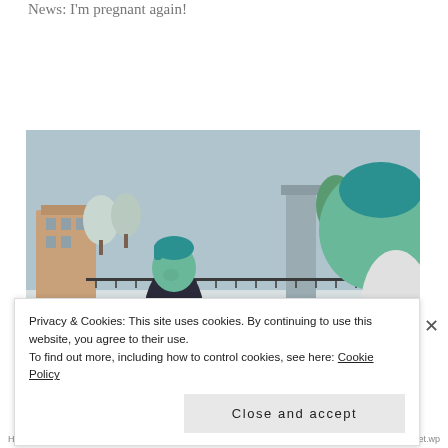News: I'm pregnant again!
[Figure (screenshot): Screenshot from The Sims 4 video game showing two green-skinned alien Sim characters standing outdoors in a snowy winter setting. One character wears a dark jacket and has teal hair, gesturing with open hands. The other character, also with teal hair, faces away from the viewer. Snow-covered trees, benches, and buildings are visible in the background.]
Privacy & Cookies: This site uses cookies. By continuing to use this website, you agree to their use.
To find out more, including how to control cookies, see here: Cookie Policy
Close and accept
Heart net.wp